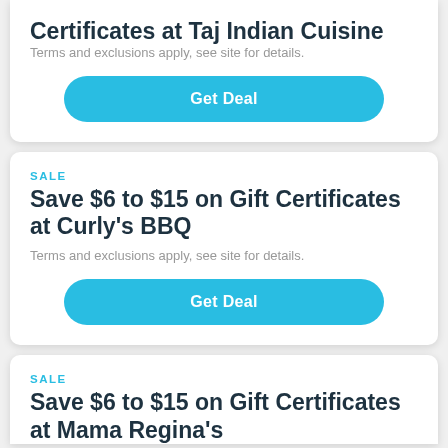Certificates at Taj Indian Cuisine
Terms and exclusions apply, see site for details.
Get Deal
SALE
Save $6 to $15 on Gift Certificates at Curly's BBQ
Terms and exclusions apply, see site for details.
Get Deal
SALE
Save $6 to $15 on Gift Certificates at Mama Regina's